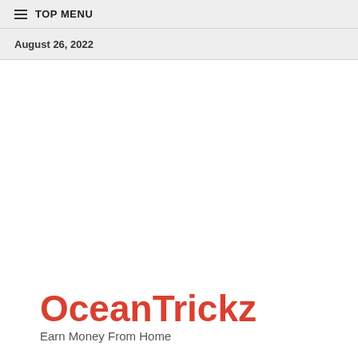≡ TOP MENU
August 26, 2022
OceanTrickz
Earn Money From Home